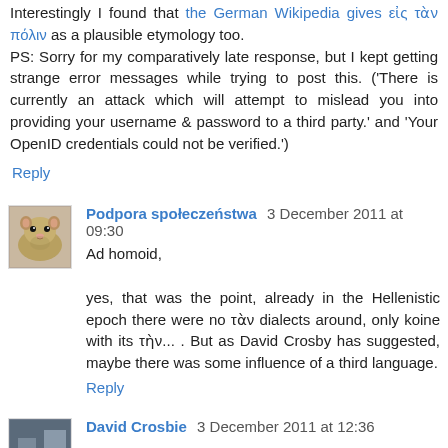Interestingly I found that the German Wikipedia gives εἰς τὰν πόλιν as a plausible etymology too.
PS: Sorry for my comparatively late response, but I kept getting strange error messages while trying to post this. ('There is currently an attack which will attempt to mislead you into providing your username & password to a third party.' and 'Your OpenID credentials could not be verified.')
Reply
Podpora społeczeństwa  3 December 2011 at 09:30
Ad homoid,

yes, that was the point, already in the Hellenistic epoch there were no τὰν dialects around, only koine with its τὴν... . But as David Crosby has suggested, maybe there was some influence of a third language.
Reply
David Crosbie  3 December 2011 at 12:36